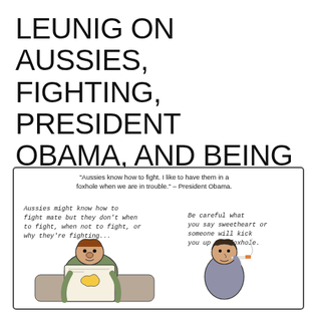LEUNIG ON AUSSIES, FIGHTING, PRESIDENT OBAMA, AND BEING KICKED UP THE FOXHOLE
[Figure (illustration): A Leunig cartoon inside a bordered box. At the top, a quote reads: "Aussies know how to fight. I like to have them in a foxhole when we are in trouble." – President Obama. On the left side handwritten text reads: 'Aussies might know how to fight mate but they don't when to fight, when not to fight, or why they're fighting...' On the right side handwritten text reads: 'Be careful what you say sweetheart or someone will kick you up the foxhole.' Below the text are two cartoon characters: a scruffy man on the left reading a newspaper with an Australia map on it, and a woman on the right holding a cigarette.]